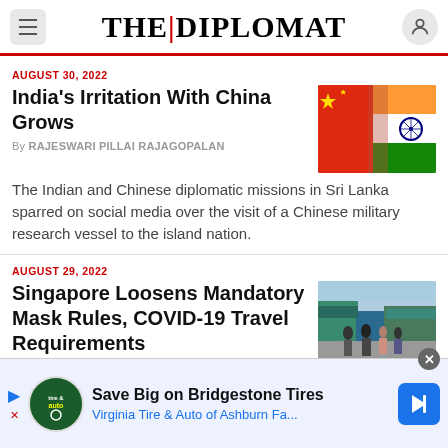THE DIPLOMAT
AUGUST 30, 2022
India's Irritation With China Grows
By RAJESWARI PILLAI RAJAGOPALAN
The Indian and Chinese diplomatic missions in Sri Lanka sparred on social media over the visit of a Chinese military research vessel to the island nation.
[Figure (photo): China and India flags blended together]
AUGUST 29, 2022
Singapore Loosens Mandatory Mask Rules, COVID-19 Travel Requirements
[Figure (photo): People walking on a Singapore street wearing masks]
Save Big on Bridgestone Tires
Virginia Tire & Auto of Ashburn Fa...